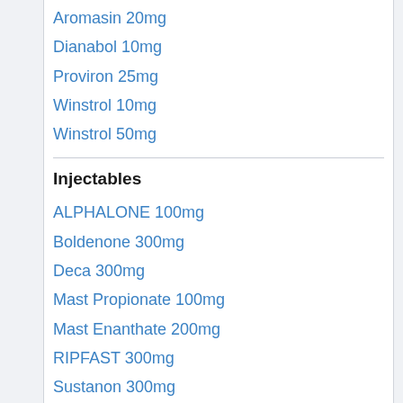Aromasin 20mg
Dianabol 10mg
Proviron 25mg
Winstrol 10mg
Winstrol 50mg
Injectables
ALPHALONE 100mg
Boldenone 300mg
Deca 300mg
Mast Propionate 100mg
Mast Enanthate 200mg
RIPFAST 300mg
Sustanon 300mg
Test 400mg
Test Cypionate 250mg
Test Enanthate 300mg